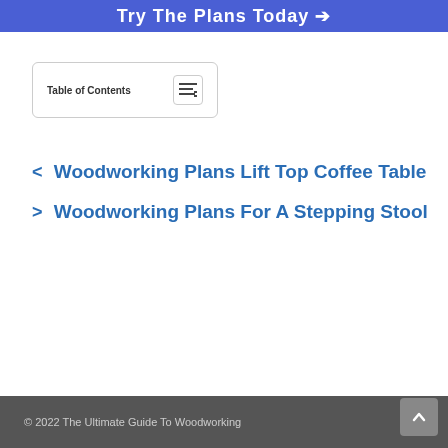[Figure (other): Blue banner button with text 'Try The Plans Today →']
Table of Contents
< Woodworking Plans Lift Top Coffee Table
> Woodworking Plans For A Stepping Stool
© 2022 The Ultimate Guide To Woodworking